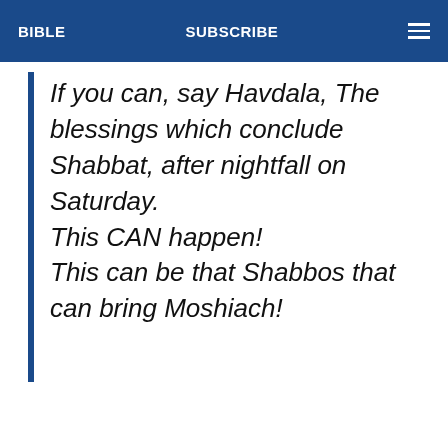BIBLE   SUBSCRIBE
If you can, say Havdala, The blessings which conclude Shabbat, after nightfall on Saturday. This CAN happen! This can be that Shabbos that can bring Moshiach!